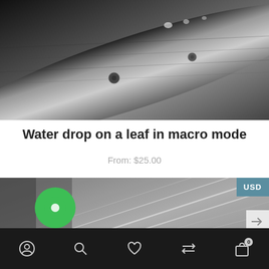[Figure (photo): Black and white macro photo of a leaf surface with water droplets visible at the top]
Water drop on a leaf in macro mode
From: $25.00
[Figure (photo): Black and white close-up macro photo of leaf veins/texture with a green circular button overlay at bottom left]
USD
Bottom navigation bar with icons: user/account, search, heart/wishlist, compare arrows, shopping bag with 0 badge